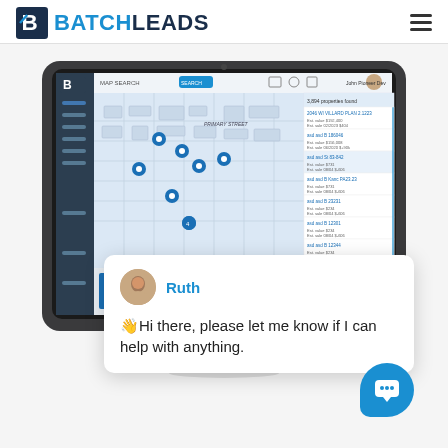[Figure (logo): BatchLeads logo with stylized B icon and text BATCHLEADS]
[Figure (screenshot): Computer monitor displaying BatchLeads map search interface with property listings and a chat popup from agent Ruth saying 'Hi there, please let me know if I can help with anything.' A blue chat bubble button is visible in the lower right corner.]